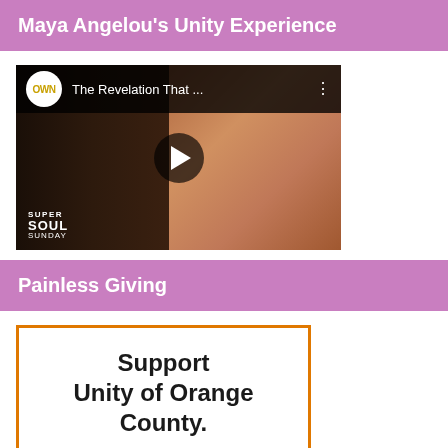Maya Angelou's Unity Experience
[Figure (screenshot): Video thumbnail showing OWN network YouTube video titled 'The Revelation That...' with two people seated in chairs, Super Soul Sunday branding visible at bottom left, and a play button in the center.]
Painless Giving
Support Unity of Orange County.
When you shop at smile.amazon.com,